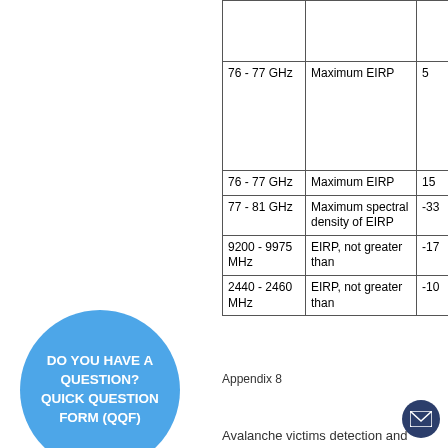| Frequency | Type | Value | Unit |
| --- | --- | --- | --- |
|  |  |  |  |
| 76 - 77 GHz | Maximum EIRP | 5 | dB |
| 76 - 77 GHz | Maximum EIRP | 15 | dB |
| 77 - 81 GHz | Maximum spectral density of EIRP | -33 | dB |
| 9200 - 9975 MHz | EIRP, not greater than | -17 | dB |
| 2440 - 2460 MHz | EIRP, not greater than | -10 | dB |
[Figure (other): Blue circular badge with text: DO YOU HAVE A QUESTION? QUICK QUESTION FORM (QQF)]
Appendix 8
Avalanche victims detection and